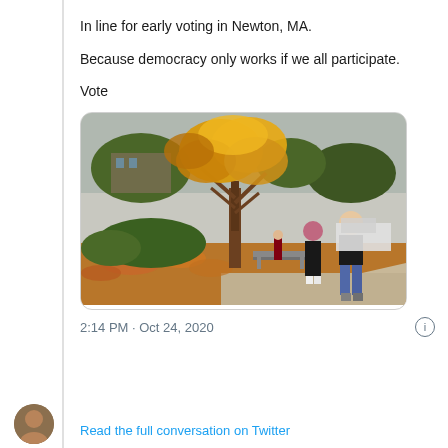In line for early voting in Newton, MA.

Because democracy only works if we all participate.

Vote
[Figure (photo): Outdoor autumn scene showing people standing in line on a sidewalk under a tree with golden/orange leaves. Fallen leaves cover the ground. A bench is visible. People are walking away from camera toward what appears to be a public building.]
2:14 PM · Oct 24, 2020
[Figure (photo): Small circular avatar photo of a person]